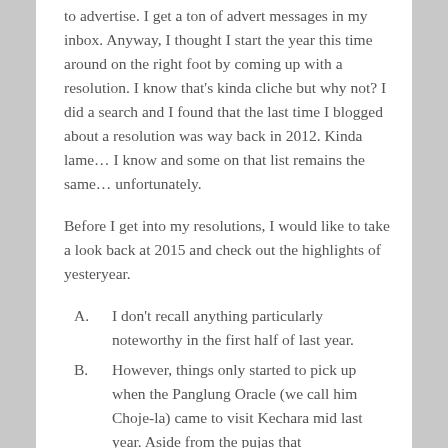to advertise. I get a ton of advert messages in my inbox. Anyway, I thought I start the year this time around on the right foot by coming up with a resolution. I know that's kinda cliche but why not? I did a search and I found that the last time I blogged about a resolution was way back in 2012. Kinda lame… I know and some on that list remains the same… unfortunately.
Before I get into my resolutions, I would like to take a look back at 2015 and check out the highlights of yesteryear.
I don't recall anything particularly noteworthy in the first half of last year.
However, things only started to pick up when the Panglung Oracle (we call him Choje-la) came to visit Kechara mid last year. Aside from the pujas that